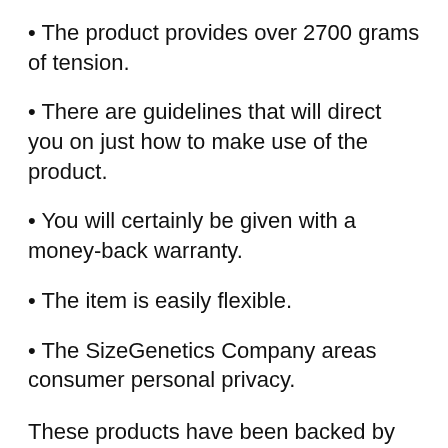The product provides over 2700 grams of tension.
There are guidelines that will direct you on just how to make use of the product.
You will certainly be given with a money-back warranty.
The item is easily flexible.
The SizeGenetics Company areas consumer personal privacy.
These products have been backed by many people online. They are backed by positive testimonials. You likewise require to bring out further research to determine if these claims